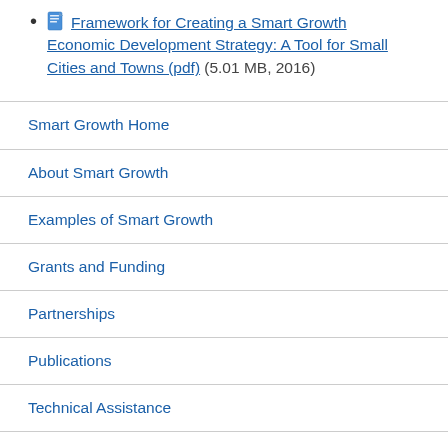Framework for Creating a Smart Growth Economic Development Strategy: A Tool for Small Cities and Towns (pdf) (5.01 MB, 2016)
Smart Growth Home
About Smart Growth
Examples of Smart Growth
Grants and Funding
Partnerships
Publications
Technical Assistance
Tools